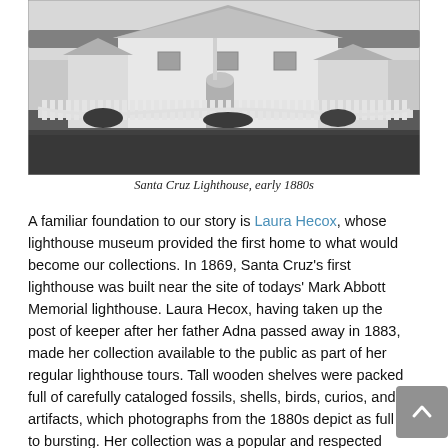[Figure (photo): Black and white historical photograph of the Santa Cruz Lighthouse in the early 1880s. Shows a white wooden house with a picket fence in front, surrounded by open land.]
Santa Cruz Lighthouse, early 1880s
A familiar foundation to our story is Laura Hecox, whose lighthouse museum provided the first home to what would become our collections. In 1869, Santa Cruz's first lighthouse was built near the site of todays' Mark Abbott Memorial lighthouse. Laura Hecox, having taken up the post of keeper after her father Adna passed away in 1883, made her collection available to the public as part of her regular lighthouse tours. Tall wooden shelves were packed full of carefully cataloged fossils, shells, birds, curios, and artifacts, which photographs from the 1880s depict as full to bursting. Her collection was a popular and respected local attraction and, in the early 1900s, was solicited for exhibition at Santa Cruz's first library.